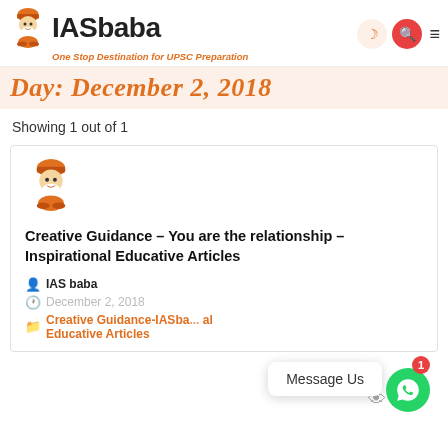IASbaba – One Stop Destination for UPSC Preparation
Day: December 2, 2018
Showing 1 out of 1
[Figure (logo): IASbaba mascot avatar – meditating sage with orange turban]
Creative Guidance – You are the relationship – Inspirational Educative Articles
IAS baba
December 2, 2018
Creative Guidance-IASbaba ... Educative Articles
Message Us